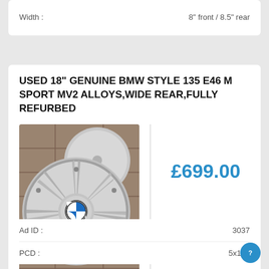| Width : |  |
| --- | --- |
| Width : | 8" front / 8.5" rear |
USED 18" GENUINE BMW STYLE 135 E46 M SPORT MV2 ALLOYS,WIDE REAR,FULLY REFURBED
[Figure (photo): Photo of BMW alloy wheels (Style 135 M Sport MV2) on paving stones, showing silver multi-spoke design with BMW roundel center cap]
£699.00
| Ad ID : | 3037 |
| --- | --- |
| Ad ID : | 3037 |
| PCD : | 5x120 |